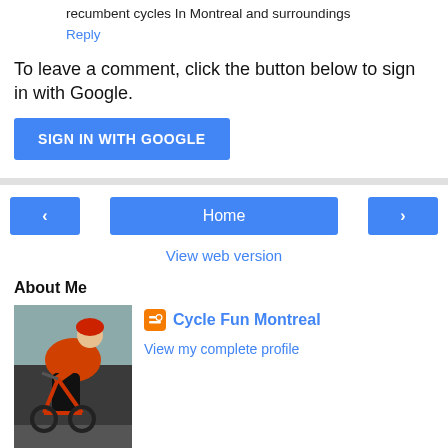recumbent cycles In Montreal and surroundings
Reply
To leave a comment, click the button below to sign in with Google.
SIGN IN WITH GOOGLE
Home
View web version
About Me
Cycle Fun Montreal
View my complete profile
Powered by Blogger.